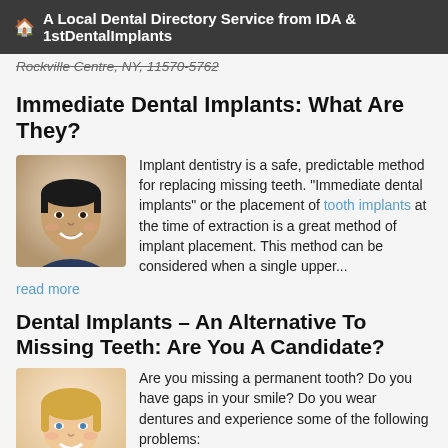A Local Dental Directory Service from IDA & 1stDentalImplants
Rockville Centre, NY, 11570-5762
Immediate Dental Implants: What Are They?
[Figure (photo): Smiling young Asian man, headshot]
Implant dentistry is a safe, predictable method for replacing missing teeth. "Immediate dental implants" or the placement of tooth implants at the time of extraction is a great method of implant placement. This method can be considered when a single upper... read more
Dental Implants - An Alternative To Missing Teeth: Are You A Candidate?
[Figure (photo): Smiling blonde woman, headshot]
Are you missing a permanent tooth? Do you have gaps in your smile? Do you wear dentures and experience some of the following problems:
Slipping and clicking while talking?
Irritation and pain when you chew?